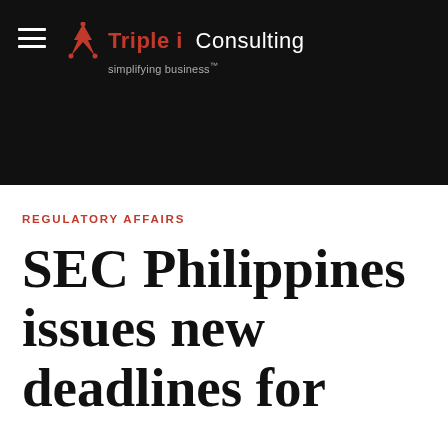[Figure (logo): Triple i Consulting logo with hamburger menu on black background header bar. Logo shows red Triple i mark with white Consulting text and tagline 'simplifying business'.]
REGULATORY AFFAIRS
SEC Philippines issues new deadlines for